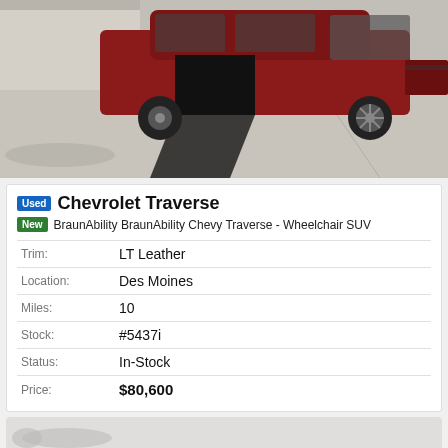[Figure (photo): Red Chevrolet Traverse wheelchair SUV with side entry ramp deployed, parked in a lot.]
Chevrolet Traverse
BraunAbility BraunAbility Chevy Traverse - Wheelchair SUV
| Trim: | LT Leather |
| Location: | Des Moines |
| Miles: | 10 |
| Stock: | #5437i |
| Status: | In-Stock |
| Price: | $80,600 |
[Figure (photo): Partial view of another vehicle listing card at the bottom of the page.]